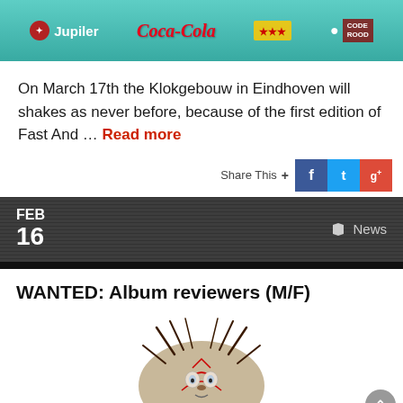[Figure (illustration): Banner with sponsor logos: Jupiler, Coca-Cola, and Code Rood on a teal/green cracked background]
On March 17th the Klokgebouw in Eindhoven will shakes as never before, because of the first edition of Fast And … Read more
Share This +
FEB 16
News
WANTED: Album reviewers (M/F)
[Figure (illustration): Dark fantasy creature illustration with tentacles and red veins on a round form]